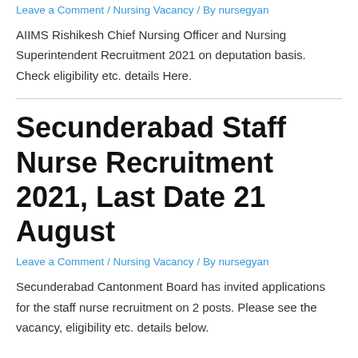Leave a Comment / Nursing Vacancy / By nursegyan
AIIMS Rishikesh Chief Nursing Officer and Nursing Superintendent Recruitment 2021 on deputation basis. Check eligibility etc. details Here.
Secunderabad Staff Nurse Recruitment 2021, Last Date 21 August
Leave a Comment / Nursing Vacancy / By nursegyan
Secunderabad Cantonment Board has invited applications for the staff nurse recruitment on 2 posts. Please see the vacancy, eligibility etc. details below.